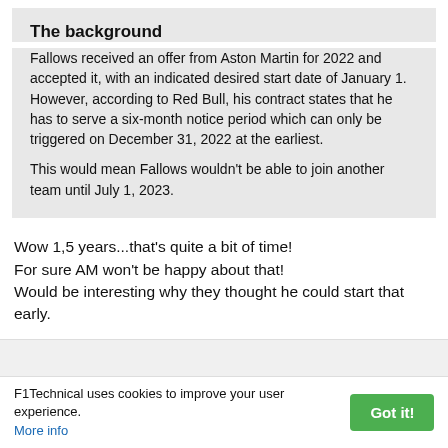The background
Fallows received an offer from Aston Martin for 2022 and accepted it, with an indicated desired start date of January 1. However, according to Red Bull, his contract states that he has to serve a six-month notice period which can only be triggered on December 31, 2022 at the earliest.

This would mean Fallows wouldn't be able to join another team until July 1, 2023.
Wow 1,5 years...that's quite a bit of time!
For sure AM won't be happy about that!
Would be interesting why they thought he could start that early.
F1Technical uses cookies to improve your user experience. More info